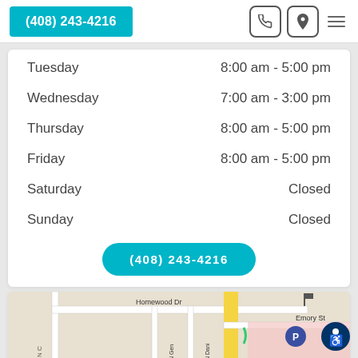(408) 243-4216
| Day | Hours |
| --- | --- |
| Tuesday | 8:00 am - 5:00 pm |
| Wednesday | 7:00 am - 3:00 pm |
| Thursday | 8:00 am - 5:00 pm |
| Friday | 8:00 am - 5:00 pm |
| Saturday | Closed |
| Sunday | Closed |
(408) 243-4216
[Figure (map): Street map showing location near O'Connor Hospital, with Homewood Dr, Emory St, N Gen, N Dani streets visible. Parking marker and hospital marker shown.]